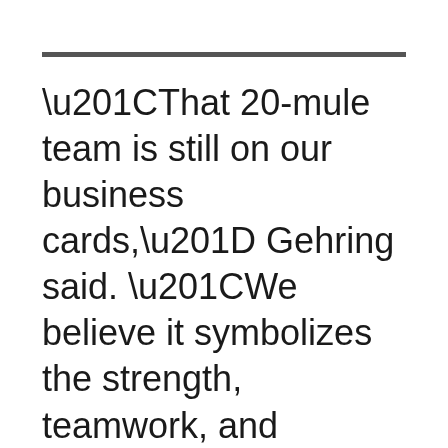“That 20-mule team is still on our business cards,” Gehring said. “We believe it symbolizes the strength, teamwork, and perseverance on which the company was founded, and are